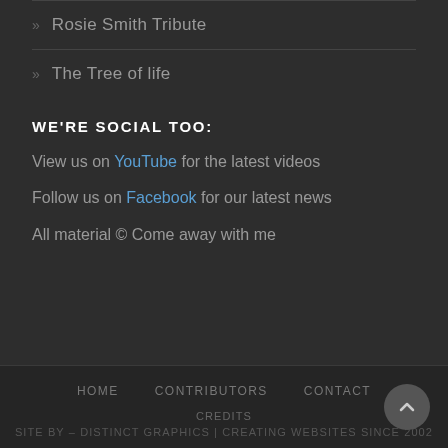» Rosie Smith Tribute
» The Tree of life
WE'RE SOCIAL TOO:
View us on YouTube for the latest videos
Follow us on Facebook for our latest news
All material © Come away with me
HOME   CONTRIBUTORS   CONTACT   CREDITS   SITE BY – DISTINCT GRAPHICS | CREATING WEBSITES SINCE 2002